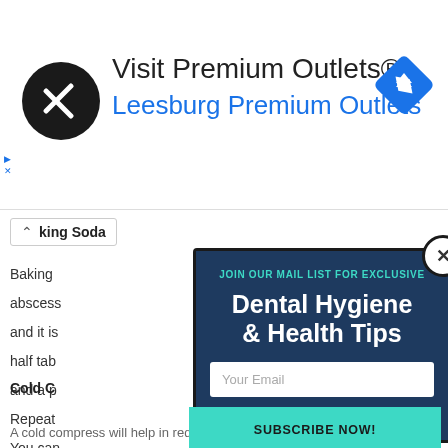[Figure (screenshot): Ad banner for Premium Outlets with circular logo, navigation arrow icon, and blue diamond direction icon. Text: Visit Premium Outlets® / Leesburg Premium Outlets]
king Soda
Baking
abscess
and it is
half tab
and a p
Repeat
You can
Cold C
A cold compress will help in reducing the pain and
[Figure (screenshot): Email subscription modal popup with dark navy background. Header: JOIN OUR MAIL LIST FOR EXCLUSIVE. Large headline: Dental Hygiene & Health Tips. Email input field with placeholder 'Your Email'. Teal subscribe button with text SUBSCRIBE NOW!]